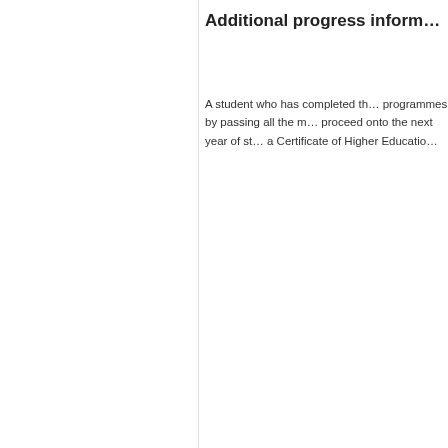Additional progress inform…
A student who has completed the programmes by passing all the m… proceed onto the next year of st… a Certificate of Higher Educatio…
Feedback
This website uses cookies to help give you a better experience. By continuing to use it you consent to the use of cookies as set out in our Privacy Policy
Got it
University of Bristol,
Senate House,
Tyndall Avenue,
Bristol, BS8 1TH, UK
Tel: +44 (0)117 928
Study at Bristol
Undergraduate study
Postgraduate study
International students
Accommodation